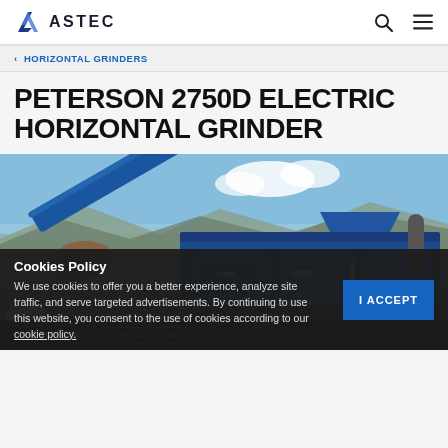ASTEC
< HORIZONTAL GRINDERS
PETERSON 2750D ELECTRIC HORIZONTAL GRINDER
[Figure (photo): Peterson 2750D Electric Horizontal Grinder machine in operation outdoors, blue industrial grinder with conveyor belt discharging material, mountains in background]
Cookies Policy
We use cookies to offer you a better experience, analyze site traffic, and serve targeted advertisements. By continuing to use this website, you consent to the use of cookies according to our cookie policy.
I ACCEPT
Overview
REQUEST INFO
Privacy · Terms